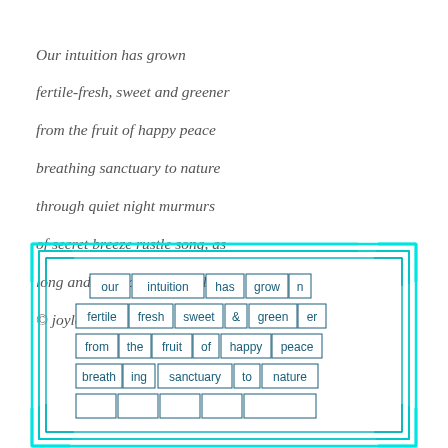Our intuition has grown
fertile-fresh, sweet and greener
from the fruit of happy peace
breathing sanctuary to nature
through quiet night murmurs
of secret breeze rustle song, as
long and deep as seed would be
© joylenton
[Figure (infographic): Decorative teal/cyan nested rectangular border frame containing individual words from the poem arranged in boxed word tiles in rows: 'our intuition has grow n', 'fertile fresh sweet & green er', 'from the fruit of happy peace', 'breath ing sanctuary to nature']